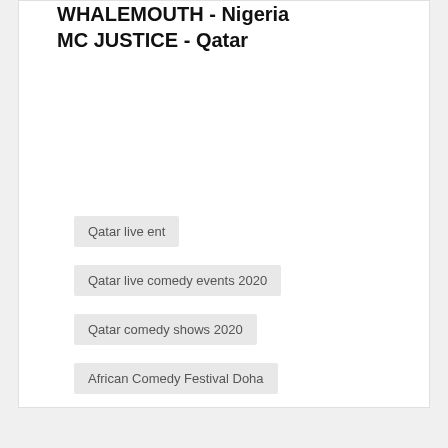WHALEMOUTH - Nigeria
MC JUSTICE - Qatar
Qatar live ent
Qatar live comedy events 2020
Qatar comedy shows 2020
African Comedy Festival Doha